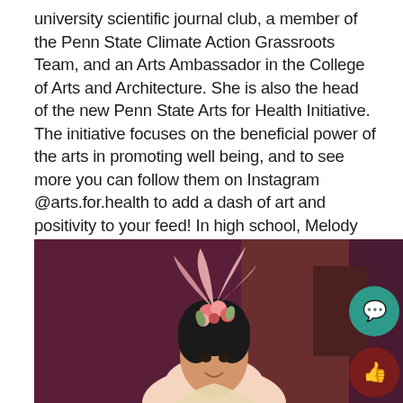university scientific journal club, a member of the Penn State Climate Action Grassroots Team, and an Arts Ambassador in the College of Arts and Architecture. She is also the head of the new Penn State Arts for Health Initiative. The initiative focuses on the beneficial power of the arts in promoting well being, and to see more you can follow them on Instagram @arts.for.health to add a dash of art and positivity to your feed! In high school, Melody was an editor of The Anchor, and she's continued down that path as a writer for Phroth, Penn State's satirical news publication.
[Figure (photo): A young woman in theatrical costume wearing an elaborate floral and feathered headpiece, smiling, against a dark maroon/purple stage background.]